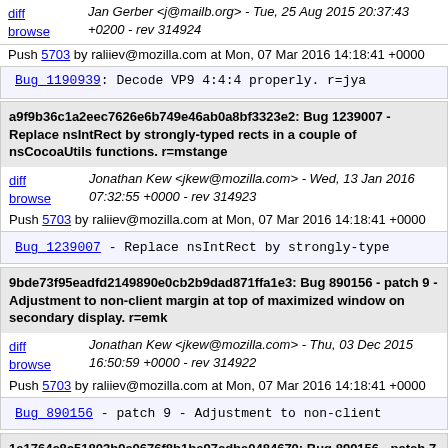diff browse  Jan Gerber <j@mailb.org> - Tue, 25 Aug 2015 20:37:43 +0200 - rev 314924
Push 5703 by raliiev@mozilla.com at Mon, 07 Mar 2016 14:18:41 +0000
Bug_1190939: Decode VP9 4:4:4 properly. r=jya
a9f9b36c1a2eec7626e6b749e46ab0a8bf3323e2: Bug 1239007 - Replace nsIntRect by strongly-typed rects in a couple of nsCocoaUtils functions. r=mstange
diff browse  Jonathan Kew <jkew@mozilla.com> - Wed, 13 Jan 2016 07:32:55 +0000 - rev 314923
Push 5703 by raliiev@mozilla.com at Mon, 07 Mar 2016 14:18:41 +0000
Bug_1239007 - Replace nsIntRect by strongly-type
9bde73f95eadfd2149890e0cb2b9dad871ffa1e3: Bug 890156 - patch 9 - Adjustment to non-client margin at top of maximized window on secondary display. r=emk
diff browse  Jonathan Kew <jkew@mozilla.com> - Thu, 03 Dec 2015 16:50:59 +0000 - rev 314922
Push 5703 by raliiev@mozilla.com at Mon, 07 Mar 2016 14:18:41 +0000
Bug_890156 - patch 9 - Adjustment to non-client
1e1764c8c51803b9a0676f8b1be97cdba0484670: Bug 890156 - patch 7 - Declare that we support Windows per-monitor DPI via the app manifest. r=emk